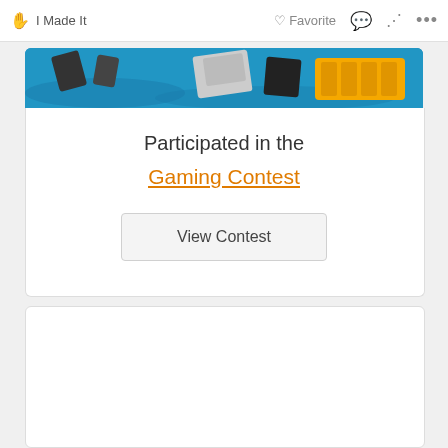✋ I Made It   ♡ Favorite  💬  ⟨share⟩  ...
[Figure (photo): Banner image showing gaming-related items on a blue background including what appears to be a yellow cartridge/device]
Participated in the
Gaming Contest
View Contest